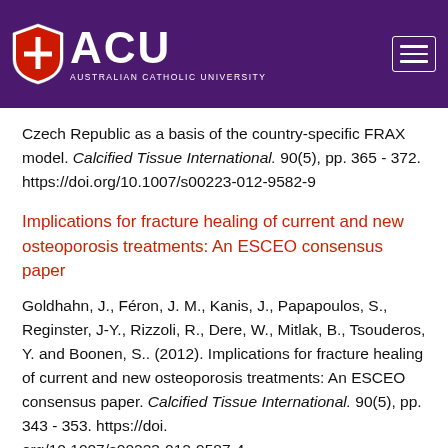[Figure (logo): Australian Catholic University (ACU) logo with shield icon and hamburger menu on purple header background]
Czech Republic as a basis of the country-specific FRAX model. Calcified Tissue International. 90(5), pp. 365 - 372. https://doi.org/10.1007/s00223-012-9582-9
Implications for fracture healing of current and new osteoporosis treatments: An ESCEO consensus paper
Goldhahn, J., Féron, J. M., Kanis, J., Papapoulos, S., Reginster, J-Y., Rizzoli, R., Dere, W., Mitlak, B., Tsouderos, Y. and Boonen, S.. (2012). Implications for fracture healing of current and new osteoporosis treatments: An ESCEO consensus paper. Calcified Tissue International. 90(5), pp. 343 - 353. https://doi.org/10.1007/s00223-012-9587-4